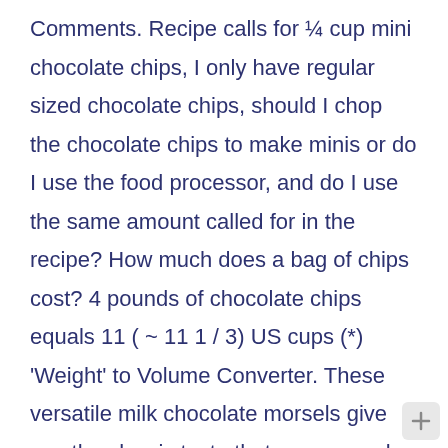Comments. Recipe calls for ¼ cup mini chocolate chips, I only have regular sized chocolate chips, should I chop the chocolate chips to make minis or do I use the food processor, and do I use the same amount called for in the recipe? How much does a bag of chips cost? 4 pounds of chocolate chips equals 11 ( ~ 11 1 / 3) US cups (*) 'Weight' to Volume Converter. These versatile milk chocolate morsels give you the classic taste that many people enjoy. Use these delicious treats to create all types of dishes that will keep your guests coming back for more. As I walk through the aisles of the grocery store I am amazed at the collection of cardboard, plastic, metal, and glass sitting on the shelves. Ingredients 3 tablespoons unsalted butter,